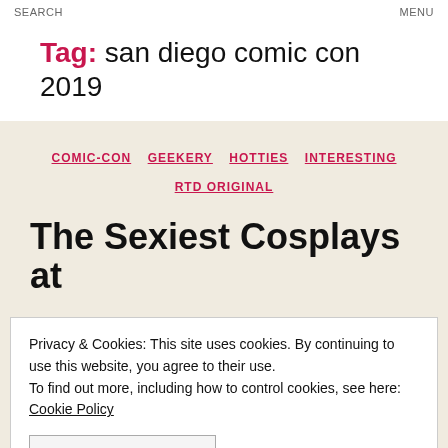SEARCH    MENU
Tag: san diego comic con 2019
COMIC-CON  GEEKERY  HOTTIES  INTERESTING  RTD ORIGINAL
The Sexiest Cosplays at
Privacy & Cookies: This site uses cookies. By continuing to use this website, you agree to their use.
To find out more, including how to control cookies, see here: Cookie Policy

CLOSE AND ACCEPT
[Figure (photo): Photo strip of cosplay attendees at bottom of page]